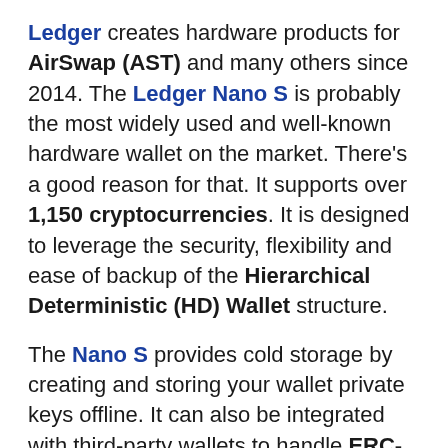Ledger creates hardware products for AirSwap (AST) and many others since 2014. The Ledger Nano S is probably the most widely used and well-known hardware wallet on the market. There's a good reason for that. It supports over 1,150 cryptocurrencies. It is designed to leverage the security, flexibility and ease of backup of the Hierarchical Deterministic (HD) Wallet structure.
The Nano S provides cold storage by creating and storing your wallet private keys offline. It can also be integrated with third-party wallets to handle ERC-20 tokens. Ledger has done a lot of marketing around its “secure element” and has raised more VC money than any of its competitors.